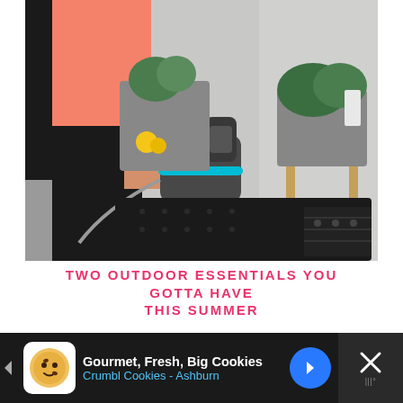[Figure (photo): A person in a pink top and black pants holding a handheld steam cleaner device with teal trim, cleaning a black wicker/rattan outdoor table on a patio. In the background are grey rectangular planters with green plants on wooden legs, and a grey wall.]
TWO OUTDOOR ESSENTIALS YOU GOTTA HAVE THIS SUMMER
More Organization
[Figure (other): Advertisement bar at bottom: dark background with Crumbl Cookies ad showing cookie logo icon, text 'Gourmet, Fresh, Big Cookies' and 'Crumbl Cookies - Ashburn', a blue navigation arrow icon, and an X close button on the right side.]